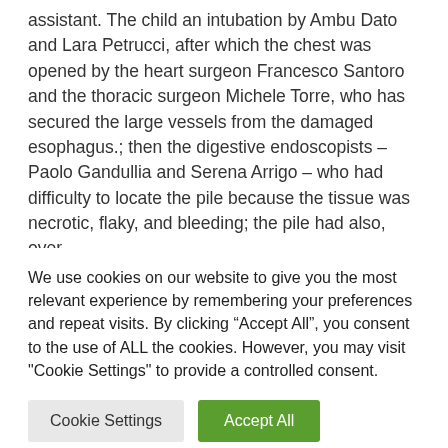assistant. The child an intubation by Ambu Dato and Lara Petrucci, after which the chest was opened by the heart surgeon Francesco Santoro and the thoracic surgeon Michele Torre, who has secured the large vessels from the damaged esophagus.; then the digestive endoscopists – Paolo Gandullia and Serena Arrigo – who had difficulty to locate the pile because the tissue was necrotic, flaky, and bleeding; the pile had also, over
We use cookies on our website to give you the most relevant experience by remembering your preferences and repeat visits. By clicking "Accept All", you consent to the use of ALL the cookies. However, you may visit "Cookie Settings" to provide a controlled consent.